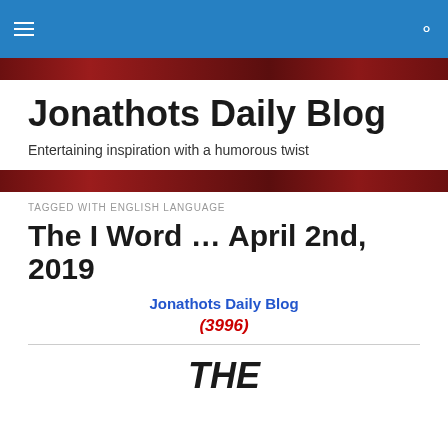≡  🔍
Jonathots Daily Blog
Entertaining inspiration with a humorous twist
TAGGED WITH ENGLISH LANGUAGE
The I Word … April 2nd, 2019
Jonathots Daily Blog
(3996)
THE